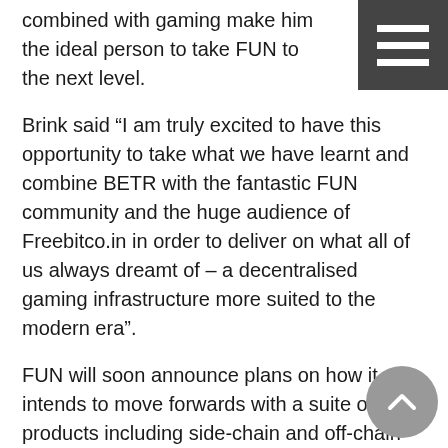combined with gaming make him the ideal person to take FUN to the next level.
Brink said “I am truly excited to have this opportunity to take what we have learnt and combine BETR with the fantastic FUN community and the huge audience of Freebitco.in in order to deliver on what all of us always dreamt of – a decentralised gaming infrastructure more suited to the modern era”.
FUN will soon announce plans on how it intends to move forwards with a suite of products including side-chain and off-chain gaming engines to counter the issues of Ethereum gas prices, a new casino site with a rich suite of games, and other gaming opportunities including peer-to-peer betting.